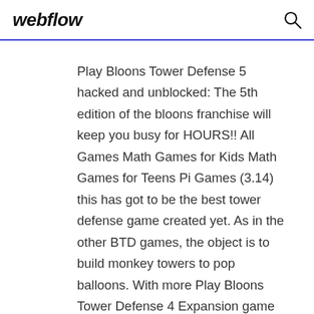webflow
Play Bloons Tower Defense 5 hacked and unblocked: The 5th edition of the bloons franchise will keep you busy for HOURS!! All Games Math Games for Kids Math Games for Teens Pi Games (3.14) this has got to be the best tower defense game created yet. As in the other BTD games, the object is to build monkey towers to pop balloons. With more Play Bloons Tower Defense 4 Expansion game free,online Play Bloons Tower Defense 4 Expansion game online for free: Fun balloon popping monkey game/ flash strategy game for kids (girls, boys), teens with no download. Strategy games for PC, Mac, iPad, funny action games, brain-teaser